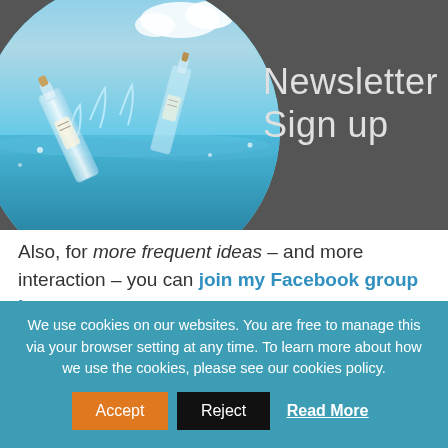[Figure (photo): Newsletter Sign up banner with a dark grey background on the right showing the text 'Newsletter Sign up' in light grey, and a circular cropped photo on the left showing glass bottles floating in water with a blue sky background.]
Also, for more frequent ideas – and more interaction – you can join my Facebook group here
Ch...
We use cookies on our websites. You are free to manage this via your browser setting at any time. To learn more about how we use the cookies, please see our cookies policy.